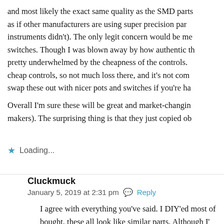and most likely the exact same quality as the SMD parts as if other manufacturers are using super precision par instruments didn't). The only legit concern would be me switches. Though I was blown away by how authentic th pretty underwhelmed by the cheapness of the controls. cheap controls, so not much loss there, and it's not com swap these out with nicer pots and switches if you're ha
Overall I'm sure these will be great and market-changin makers). The surprising thing is that they just copied ob
Loading...
Cluckmuck
January 5, 2019 at 2:31 pm   Reply
I agree with everything you've said. I DIY'ed most of bought, these all look like similar parts. Although I' trimmer pots, they aren't too bad in use. The only co